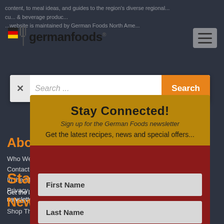[Figure (screenshot): GermanFoods website screenshot with newsletter signup modal overlay on dark background. Shows logo with German flag design, hamburger menu, search bar, About GermanFoods navigation links, Stay Connected section, and a modal popup with newsletter signup form fields (First Name, Last Name, Email) and YES, PLEASE! submit button in gold/red color scheme.]